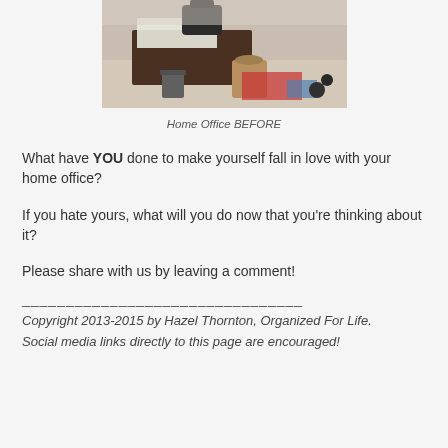[Figure (photo): A cluttered home office with a desk, chair, papers, and bags on the floor before organizing.]
Home Office BEFORE
What have YOU done to make yourself fall in love with your home office?
If you hate yours, what will you do now that you're thinking about it?
Please share with us by leaving a comment!
________________________________
Copyright 2013-2015 by Hazel Thornton, Organized For Life.
Social media links directly to this page are encouraged!